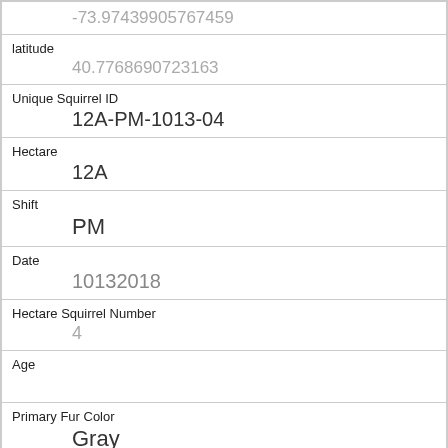-73.97439905767459
latitude
40.7768690723163
Unique Squirrel ID
12A-PM-1013-04
Hectare
12A
Shift
PM
Date
10132018
Hectare Squirrel Number
4
Age
Primary Fur Color
Gray
Highlight Fur Color
Cinnamon
Combination of Primary and Highlight Color